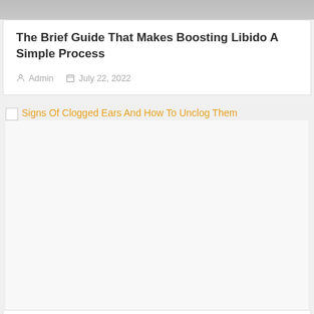[Figure (photo): Partial view of a person, top of page, cropped]
The Brief Guide That Makes Boosting Libido A Simple Process
Admin   July 22, 2022
[Figure (photo): Broken image placeholder linking to Signs Of Clogged Ears And How To Unclog Them]
Signs Of Clogged Ears And How To Unclog Them
Michelle Grabau   May 23, 2020